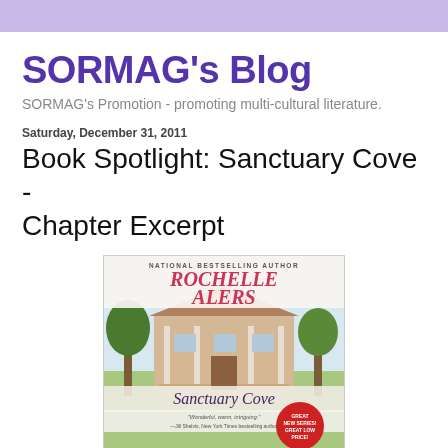SORMAG's Blog
SORMAG's Promotion - promoting multi-cultural literature.
Saturday, December 31, 2011
Book Spotlight: Sanctuary Cove - Chapter Excerpt
[Figure (photo): Book cover for 'Sanctuary Cove' by Rochelle Alers, National Bestselling Author. Features a large Southern house with trees, a quote 'Wonderful, warm, intriguing.' —Jill Shalvis, New York Times bestselling author, and a badge reading 'Great New Series! Great Low Price!']